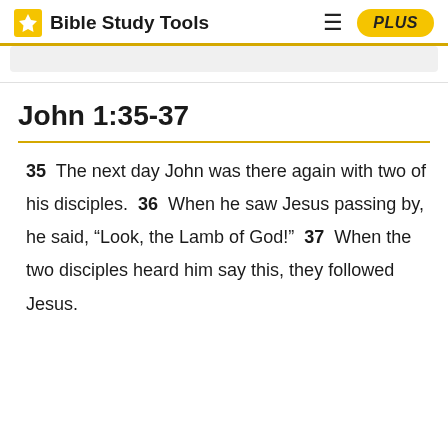Bible Study Tools | PLUS
John 1:35-37
35 The next day John was there again with two of his disciples. 36 When he saw Jesus passing by, he said, “Look, the Lamb of God!” 37 When the two disciples heard him say this, they followed Jesus.